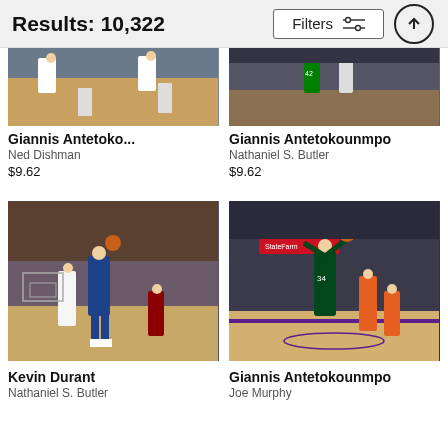Results: 10,322
[Figure (screenshot): Filters button with sliders icon and up arrow button in header]
[Figure (photo): Basketball game photo partially cropped - player legs visible, indoor arena]
[Figure (photo): Giannis Antetokounmpo basketball photo with Celtics player number 42, crowd in background]
Giannis Antetoko...
Ned Dishman
$9.62
Giannis Antetokounmpo
Nathaniel S. Butler
$9.62
[Figure (photo): Kevin Durant in Golden State Warriors blue jersey shooting basketball, opponent in white jersey, indoor arena]
[Figure (photo): Giannis Antetokounmpo jumping/dunking in arena with State Farm branding visible, Phoenix Suns players defending]
Kevin Durant
Nathaniel S. Butler
Giannis Antetokounmpo
Joe Murphy